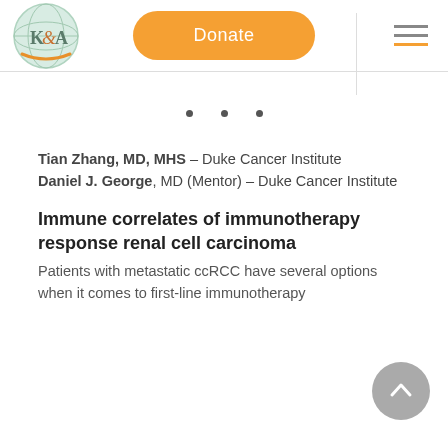[Figure (logo): K&A organization logo — circular green globe with K&A text and orange swoosh]
[Figure (other): Orange rounded rectangle Donate button]
[Figure (other): Hamburger menu icon with orange and gray lines]
[Figure (other): Three small dots carousel indicators]
Tian Zhang, MD, MHS – Duke Cancer Institute
Daniel J. George, MD (Mentor) – Duke Cancer Institute
Immune correlates of immunotherapy response renal cell carcinoma
Patients with metastatic ccRCC have several options when it comes to first-line immunotherapy